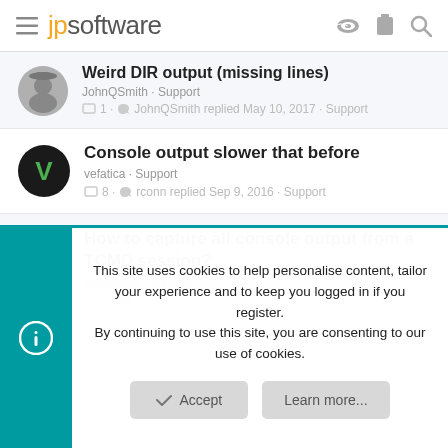jpsoftware
Weird DIR output (missing lines) · JohnQSmith · Support · 1 · JohnQSmith replied May 10, 2017 · Support
Console output slower that before · vefatica · Support · 8 · rconn replied Sep 9, 2016 · Support
How to capture all console output from a TCMD session? · Mordachai · Support · 4 · rconn replied Nov 24, 2015 · Support
This site uses cookies to help personalise content, tailor your experience and to keep you logged in if you register. By continuing to use this site, you are consenting to our use of cookies.